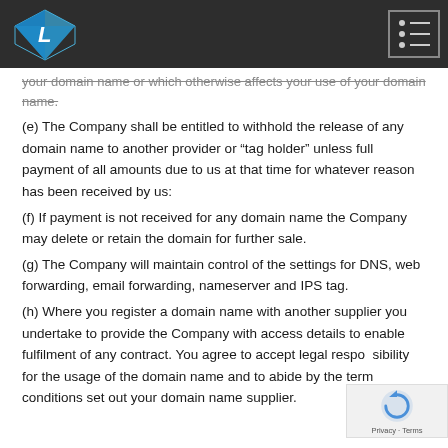Logo and navigation menu
your domain name or which otherwise affects your use of your domain name.
(e) The Company shall be entitled to withhold the release of any domain name to another provider or “tag holder” unless full payment of all amounts due to us at that time for whatever reason has been received by us:
(f) If payment is not received for any domain name the Company may delete or retain the domain for further sale.
(g) The Company will maintain control of the settings for DNS, web forwarding, email forwarding, nameserver and IPS tag.
(h) Where you register a domain name with another supplier you undertake to provide the Company with access details to enable fulfilment of any contract. You agree to accept legal responsibility for the usage of the domain name and to abide by the terms and conditions set out your domain name supplier.